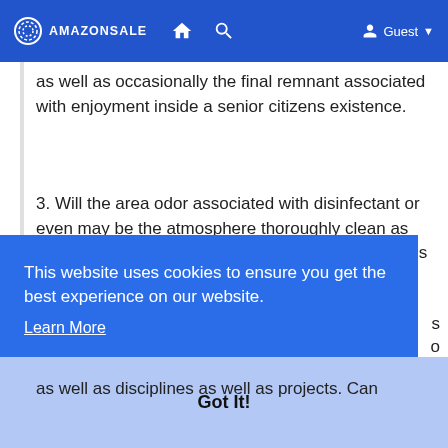AMAZONSALE  Guest
as well as occasionally the final remnant associated with enjoyment inside a senior citizens existence.
3. Will the area odor associated with disinfectant or even may be the atmosphere thoroughly clean as well as clean as well as you will find clean blossoms as well as reside vegetation. Can there be quite a outdoors backyard?
This website uses cookies to ensure you get the best experience on our website. Learn More
Got It!
as well as disciplines as well as projects. Can